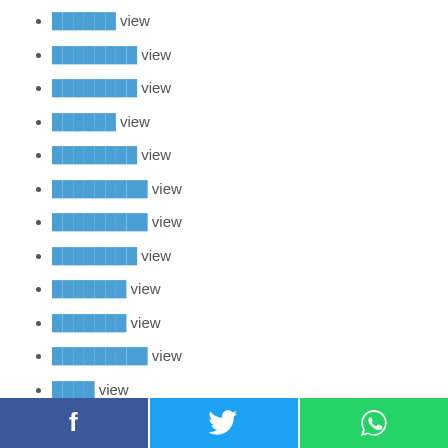██████ view
████████ view
████████ view
██████ view
████████ view
█████████ view
█████████ view
████████ view
███████ view
███████ view
█████████ view
████ view
██████████ view
Facebook | Twitter | WhatsApp